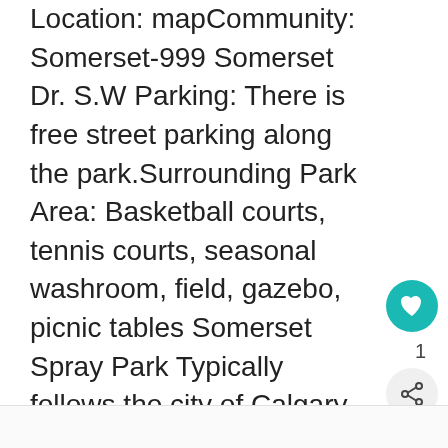Location: mapCommunity: Somerset-999 Somerset Dr. S.W Parking: There is free street parking along the park.Surrounding Park Area: Basketball courts, tennis courts, seasonal washroom, field, gazebo, picnic tables Somerset Spray Park Typically follows the city of Calgary schedule – mid-june-labour day 9am-9pm. Has reopened for the 2022 season with a brand new spray park The ... Read more